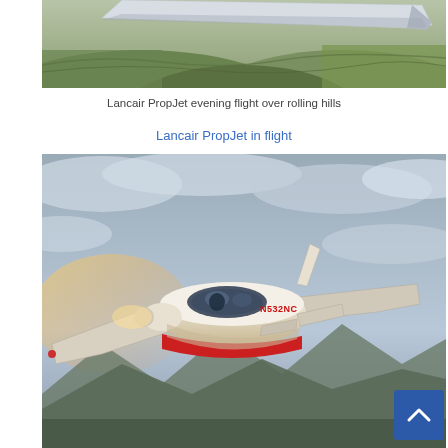[Figure (photo): Top portion of a Lancair PropJet aircraft wing in flight over rolling hills at evening, aerial view showing wing tip and landscape below]
Lancair PropJet evening flight over rolling hills
Lancair PropJet in flight
[Figure (photo): Lancair PropJet aircraft N532NC in flight, white and red paint scheme, flying above clouds with mountains visible below, professional aerial photography]